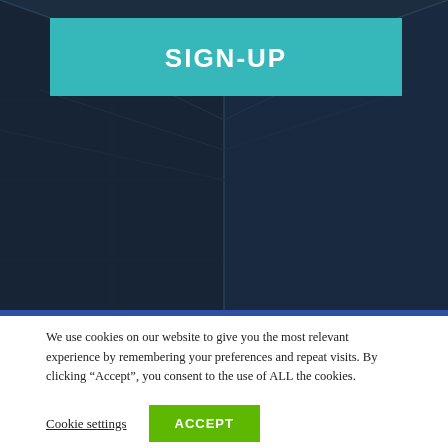[Figure (photo): Architectural building facade with geometric glass panels in dark blue tones, with a teal SIGN-UP banner overlaid at the top center]
SIGN-UP
[Figure (logo): Crosby Associates Media logo on black background — CROSBY in red, ASSOCIATES in white bold, MEDIA in white spaced letters with horizontal lines on each side]
We use cookies on our website to give you the most relevant experience by remembering your preferences and repeat visits. By clicking "Accept", you consent to the use of ALL the cookies.
Cookie settings
ACCEPT